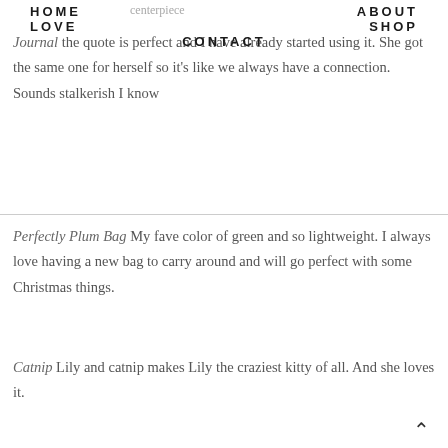centerpiece
HOME    ABOUT    LOVE    SHOP    CONTACT
Journal the quote is perfect and I have already started using it. She got the same one for herself so it's like we always have a connection. Sounds stalkerish I know
Perfectly Plum Bag My fave color of green and so lightweight. I always love having a new bag to carry around and will go perfect with some Christmas things.
Catnip Lily and catnip makes Lily the craziest kitty of all. And she loves it.